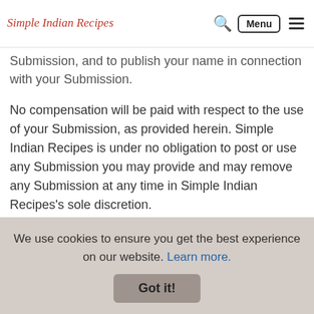Simple Indian Recipes — navigation header with logo, search, Menu button, and hamburger icon
copy, distribute, transmit, publicly display, publicly perform, reproduce, edit, translate and remove Submission, and to publish your name in connection with your Submission.
No compensation will be paid with respect to the use of your Submission, as provided herein. Simple Indian Recipes is under no obligation to post or use any Submission you may provide and may remove any Submission at any time in Simple Indian Recipes's sole discretion.
By posting, uploading, inputting, providing or submitting your Submission you warrant and represent that you
We use cookies to ensure you get the best experience on our website. Learn more. Got it!